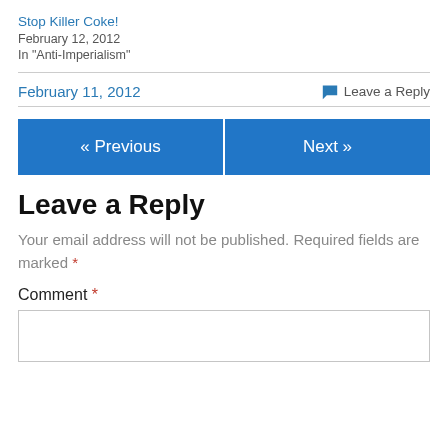Stop Killer Coke!
February 12, 2012
In "Anti-Imperialism"
February 11, 2012
Leave a Reply
« Previous
Next »
Leave a Reply
Your email address will not be published. Required fields are marked *
Comment *